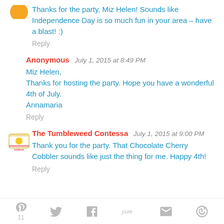Thanks for the party, Miz Helen! Sounds like Independence Day is so much fun in your area – have a blast! :)
Reply
Anonymous   July 1, 2015 at 8:49 PM
Miz Helen,
Thanks for hosting the party. Hope you have a wonderful 4th of July.
Annamaria
Reply
The Tumbleweed Contessa   July 1, 2015 at 9:00 PM
Thank you for the party. That Chocolate Cherry Cobbler sounds like just the thing for me. Happy 4th!
Reply
Pinterest 11  Twitter  Facebook  Yum  Email  Share